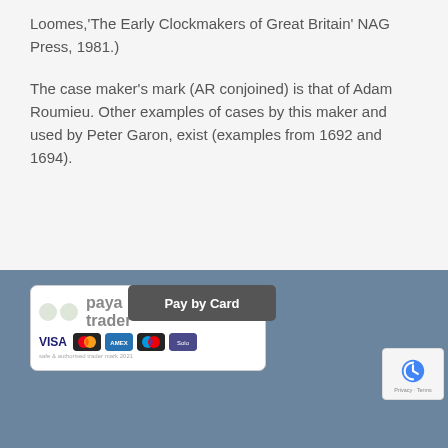Loomes,'The Early Clockmakers of Great Britain' NAG Press, 1981.)
The case maker's mark (AR conjoined) is that of Adam Roumieu. Other examples of cases by this maker and used by Peter Garon, exist (examples from 1692 and 1694).
[Figure (other): PayaTrader payment widget showing 'Pay by Card' button with VISA, Mastercard, American Express, Maestro, and Solo card logos]
[Figure (other): reCAPTCHA badge with Privacy and Terms links]